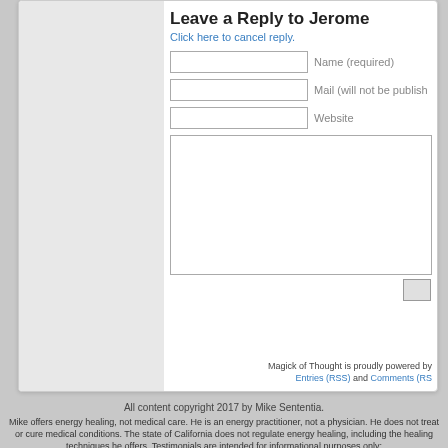Leave a Reply to Jerome
Click here to cancel reply.
[Figure (screenshot): Web comment form with fields for Name (required), Mail (will not be published), Website, and a large textarea, plus a submit button.]
Magick of Thought is proudly powered by  Entries (RSS) and Comments (RS...
All content copyright 2017 by Mike Sententia.
Mike offers energy healing, not medical care. He is an energy practitioner, not a physician. He does not treat or cure medical conditions. The state of California does not regulate energy healing, including the healing techniques he offers. Testimonials are intended for informational purposes only;